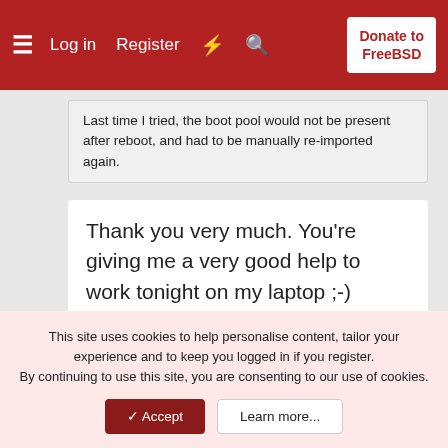Log in  Register  Donate to FreeBSD
Last time I tried, the boot pool would not be present after reboot, and had to be manually re-imported again.
Thank you very much. You're giving me a very good help to work tonight on my laptop ;-)

Cheers
toomanysecrets
Nov 4, 2013  Thread Starter  #8
This site uses cookies to help personalise content, tailor your experience and to keep you logged in if you register.
By continuing to use this site, you are consenting to our use of cookies.